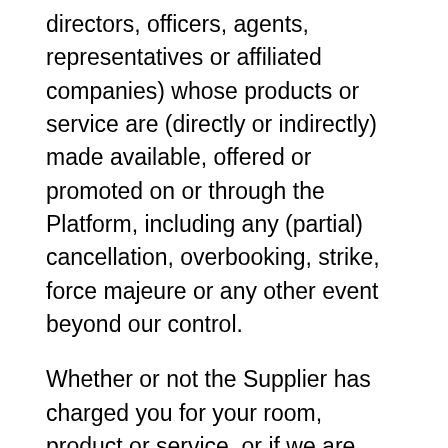directors, officers, agents, representatives or affiliated companies) whose products or service are (directly or indirectly) made available, offered or promoted on or through the Platform, including any (partial) cancellation, overbooking, strike, force majeure or any other event beyond our control.
Whether or not the Supplier has charged you for your room, product or service, or if we are facilitating the payment of the (room/reservation) price, you agree and acknowledge that the Supplier is at all times responsible for the collection, withholding, remittance and payment of the applicable taxes due on the total amount of the (room/reservation) price to the relevant tax authorities. Fish.Travel is not liable or responsible for the remittance, collection, withholding or payment of the relevant taxes due on the (room/reservation) price to the relevant tax authorities. Fish.Travel does not act as the merchant of record for any product or service made available on the Platform.